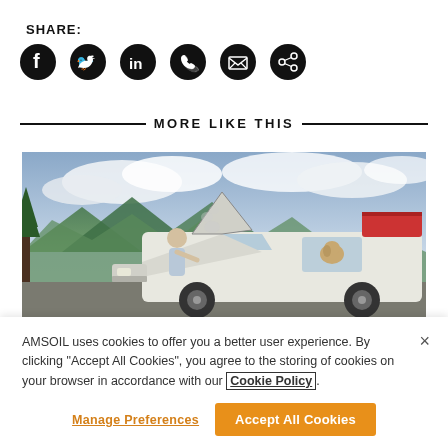SHARE:
[Figure (infographic): Six social media share icons (Facebook, Twitter, LinkedIn, WhatsApp, Email, Share) displayed as dark circular icons]
MORE LIKE THIS
[Figure (photo): A man leaning over an open hood of a white SUV broken down on the side of a road, with a dog looking out the car window, mountains and cloudy sky in background]
AMSOIL uses cookies to offer you a better user experience. By clicking “Accept All Cookies”, you agree to the storing of cookies on your browser in accordance with our Cookie Policy.
Manage Preferences
Accept All Cookies